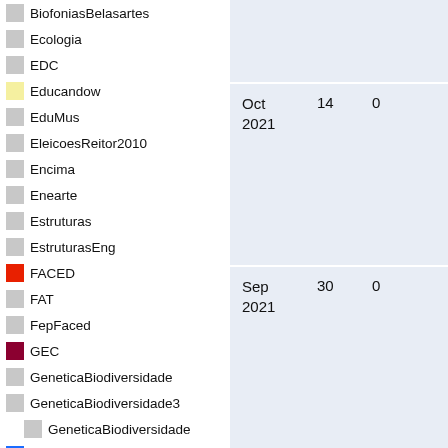BiofoniasBelasartes
Ecologia
EDC
Educandow
EduMus
EleicoesReitor2010
Encima
Enearte
Estruturas
EstruturasEng
FACED
FAT
FepFaced
GEC
GeneticaBiodiversidade
GeneticaBiodiversidade3
GeneticaBiodiversidade
Gepindi
GetecEng
Godofredofilho
GrupoAlgebra
ICI010
Informev
| Date | Count | Zero |
| --- | --- | --- |
| Oct 2021 | 14 | 0 |
| Sep 2021 | 30 | 0 |